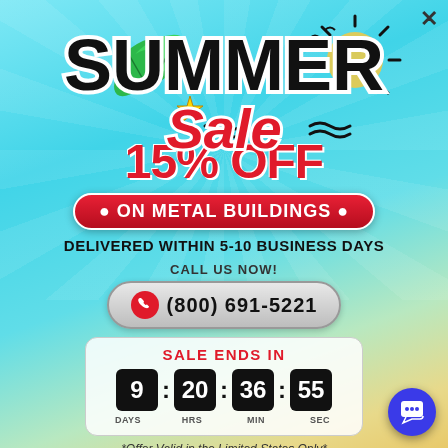[Figure (infographic): Summer Sale promotional popup with sky and beach gradient background, tropical leaf and sun decorations]
SUMMER Sale
15% OFF
• ON METAL BUILDINGS •
DELIVERED WITHIN 5-10 BUSINESS DAYS
CALL US NOW!
(800) 691-5221
SALE ENDS IN
9 : 20 : 36 : 55
DAYS   HRS   MIN   SEC
*Offer Valid in the Limited States Only*